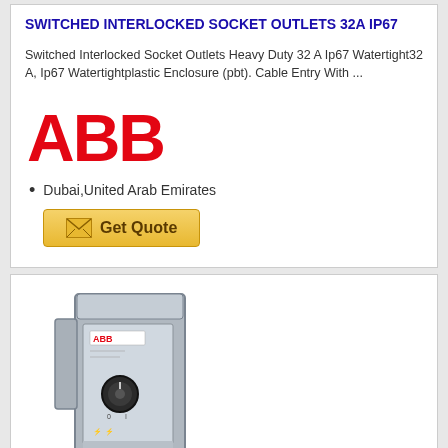SWITCHED INTERLOCKED SOCKET OUTLETS 32A IP67
Switched Interlocked Socket Outlets Heavy Duty 32 A Ip67 Watertight32 A, Ip67 Watertightplastic Enclosure (pbt). Cable Entry With ...
[Figure (logo): ABB brand logo in red letters]
Dubai,United Arab Emirates
[Figure (photo): ABB industrial motor starter or disconnect switch unit, grey metal enclosure with rotary handle, viewed from front angle]